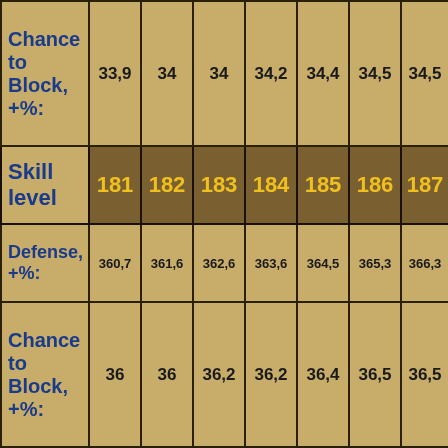|  | 181 | 182 | 183 | 184 | 185 | 186 | 187 |
| --- | --- | --- | --- | --- | --- | --- | --- |
| Chance to Block, +%: | 33,9 | 34 | 34 | 34,2 | 34,4 | 34,5 | 34,5 |
| Skill level | 181 | 182 | 183 | 184 | 185 | 186 | 187 |
| Defense, +%: | 360,7 | 361,6 | 362,6 | 363,6 | 364,5 | 365,3 | 366,3 |
| Chance to Block, +%: | 36 | 36 | 36,2 | 36,2 | 36,4 | 36,5 | 36,5 |
| Skill level | 201 | 202 | 203 | 204 | 205 | 206 | 207 |